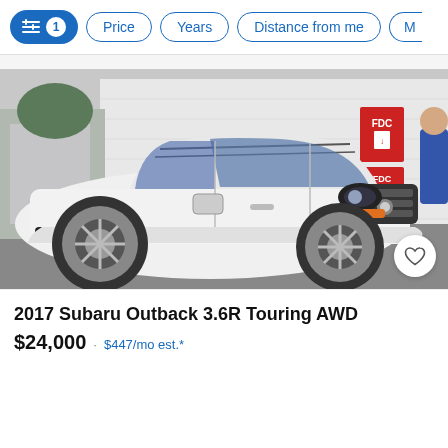Filter controls: [filters icon 1] Price | Years | Distance from me | M...
[Figure (photo): White 2017 Subaru Outback 3.6R Touring AWD SUV parked in a lot in front of a white brick building, front three-quarter view. A red FDC sign is visible on the building wall. A person in blue is partially visible on the right edge.]
2017 Subaru Outback 3.6R Touring AWD
$24,000  ·  $447/mo est.*